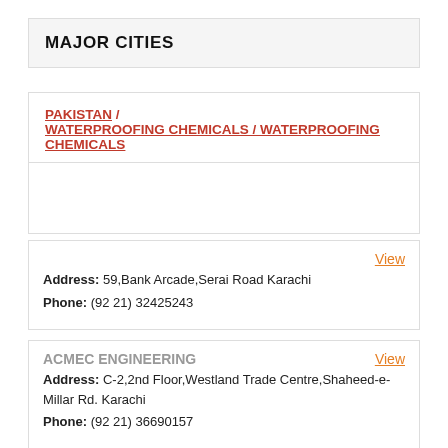MAJOR CITIES
PAKISTAN / WATERPROOFING CHEMICALS / WATERPROOFING CHEMICALS
Address: 59,Bank Arcade,Serai Road Karachi
Phone: (92 21) 32425243
ACMEC ENGINEERING
Address: C-2,2nd Floor,Westland Trade Centre,Shaheed-e-Millar Rd. Karachi
Phone: (92 21) 36690157